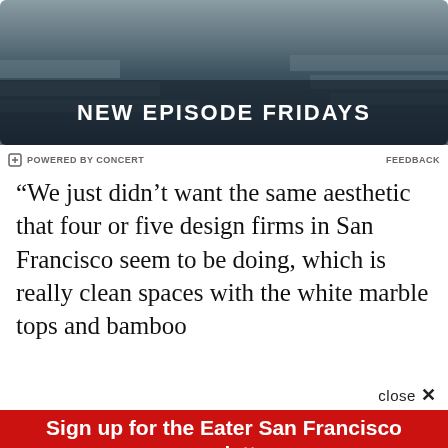[Figure (screenshot): Advertisement banner with dark background showing 'NEW EPISODE FRIDAYS' text in white]
⊟ POWERED BY CONCERT    FEEDBACK
“We just didn’t want the same aesthetic that four or five design firms in San Francisco seem to be doing, which is really clean spaces with the white marble tops and bamboo
close ×
Sign up for the Eater San Francisco newsletter
The freshest news from the local food world
Email (required)
SUBSCRIBE
By submitting your email, you agree to our Terms and Privacy Notice. You can opt out at any time. This site is protected by reCAPTCHA and the Google Privacy Policy and Terms of Service apply.